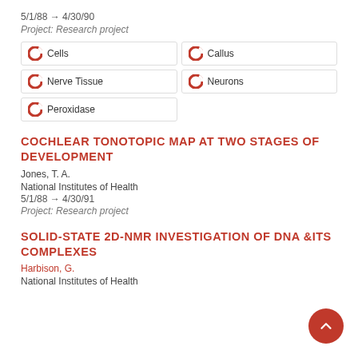5/1/88 → 4/30/90
Project: Research project
Cells
Callus
Nerve Tissue
Neurons
Peroxidase
COCHLEAR TONOTOPIC MAP AT TWO STAGES OF DEVELOPMENT
Jones, T. A.
National Institutes of Health
5/1/88 → 4/30/91
Project: Research project
SOLID-STATE 2D-NMR INVESTIGATION OF DNA &ITS COMPLEXES
Harbison, G.
National Institutes of Health